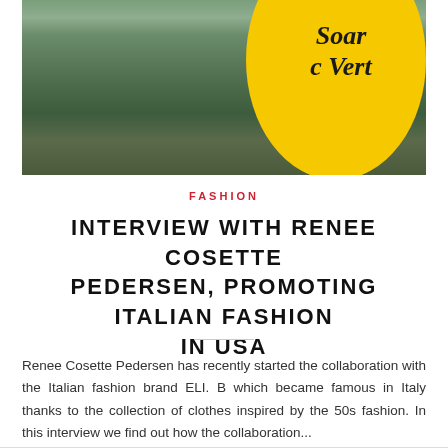[Figure (photo): Person wearing a yellow skirt/dress with cursive text 'Soar c Vert' standing outdoors near a tree and vehicle on a brick sidewalk]
FASHION
INTERVIEW WITH RENEE COSETTE PEDERSEN, PROMOTING ITALIAN FASHION IN USA
Renee Cosette Pedersen has recently started the collaboration with the Italian fashion brand ELI. B which became famous in Italy thanks to the collection of clothes inspired by the 50s fashion. In this interview we find out how the collaboration...